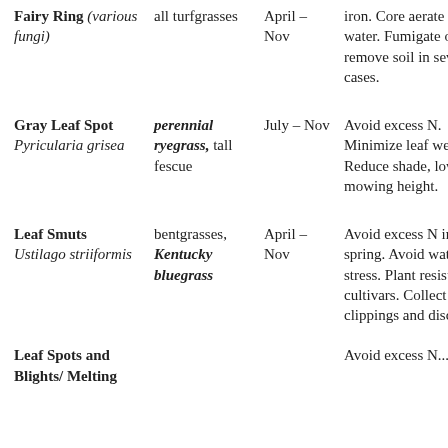| Fairy Ring (various fungi) | all turfgrasses | April – Nov | iron. Core aerate and water. Fumigate or remove soil in severe cases. |
| Gray Leaf Spot Pyricularia grisea | perennial ryegrass, tall fescue | July – Nov | Avoid excess N. Minimize leaf wetness. Reduce shade, lower mowing height. |
| Leaf Smuts Ustilago striiformis | bentgrasses, Kentucky bluegrass | April – Nov | Avoid excess N in spring. Avoid water stress. Plant resistant cultivars. Collect clippings and discard. |
| Leaf Spots and Blights/ Melting |  |  | Avoid excess N... |